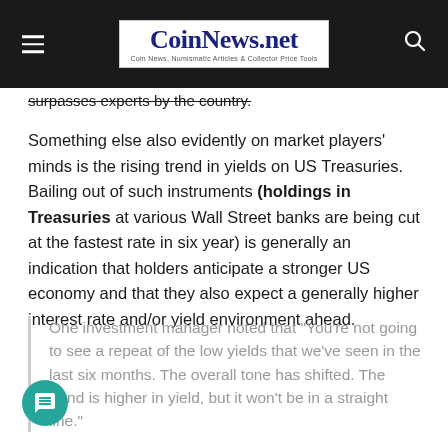CoinNews.net — Coin News, Numismatic Articles & Collector Price Tools
surpasses experts by the country.
Something else also evidently on market players' minds is the rising trend in yields on US Treasuries. Bailing out of such instruments (holdings in Treasuries at various Wall Street banks are being cut at the fastest rate in six year) is generally an indication that holders anticipate a stronger US economy and that they also expect a generally higher interest rate and/or yield environment ahead.
One investment manager noted that "You're not going to see a repeat of the low yields that we've seen in the last six months. The overall tone has shifted. The trend is higher in yield, but it won't be in a straight line."